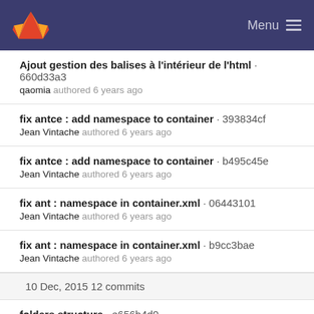GitLab — Menu
Ajout gestion des balises à l'intérieur de l'html · 660d33a3
qaomia authored 6 years ago
fix antce : add namespace to container · 393834cf
Jean Vintache authored 6 years ago
fix antce : add namespace to container · b495c45e
Jean Vintache authored 6 years ago
fix ant : namespace in container.xml · 06443101
Jean Vintache authored 6 years ago
fix ant : namespace in container.xml · b9cc3bae
Jean Vintache authored 6 years ago
10 Dec, 2015 12 commits
folders structure · e656b4d0
Jean Vintache authored 6 years ago